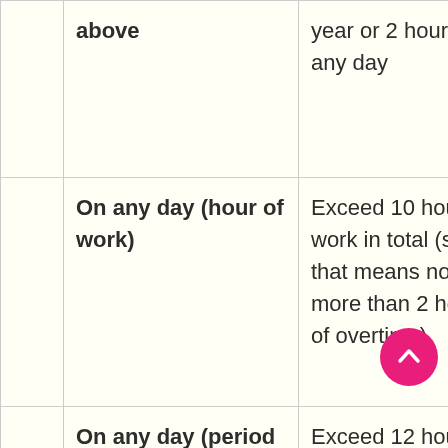|  | When | Cannot |
| --- | --- | --- |
|  | above | year or 2 hours in any day |
|  | On any day (hour of work) | Exceed 10 hours of work in total (so that means no more than 2 hours of overtime) |
|  | On any day (period of employment) | Exceed 12 hours (between 7... |